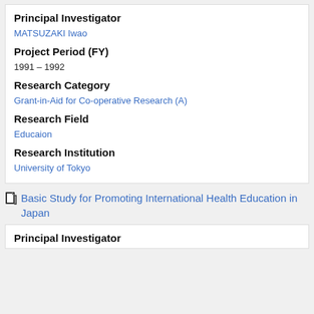Principal Investigator
MATSUZAKI Iwao
Project Period (FY)
1991 – 1992
Research Category
Grant-in-Aid for Co-operative Research (A)
Research Field
Educaion
Research Institution
University of Tokyo
Basic Study for Promoting International Health Education in Japan
Principal Investigator